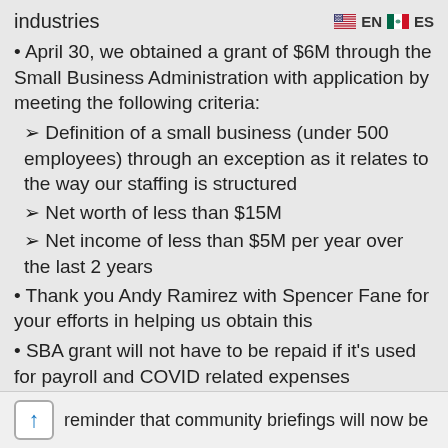industries
• April 30, we obtained a grant of $6M through the Small Business Administration with application by meeting the following criteria:
➢ Definition of a small business (under 500 employees) through an exception as it relates to the way our staffing is structured
➢ Net worth of less than $15M
➢ Net income of less than $5M per year over the last 2 years
• Thank you Andy Ramirez with Spencer Fane for your efforts in helping us obtain this
• SBA grant will not have to be repaid if it's used for payroll and COVID related expenses
reminder that community briefings will now be